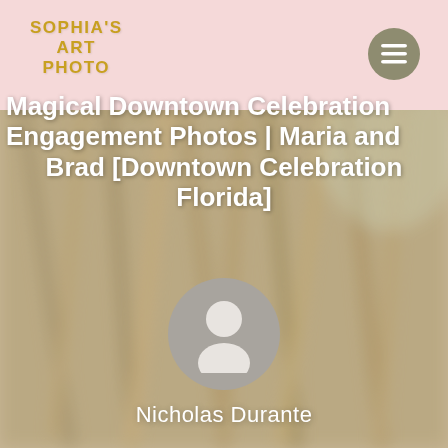[Figure (photo): Blurred background photo of dried plants/grasses with warm muted tones, pink header bar at top]
SOPHIA'S ART PHOTO
Magical Downtown Celebration Engagement Photos | Maria and Brad [Downtown Celebration Florida]
[Figure (illustration): Generic user avatar icon — white silhouette of a person on a gray circular background]
Nicholas Durante